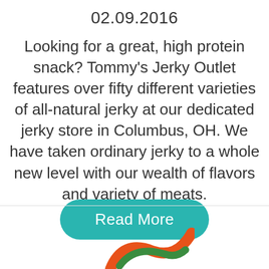02.09.2016
Looking for a great, high protein snack? Tommy’s Jerky Outlet features over fifty different varieties of all-natural jerky at our dedicated jerky store in Columbus, OH. We have taken ordinary jerky to a whole new level with our wealth of flavors and variety of meats.
[Figure (other): Teal rounded rectangle button with white text reading 'Read More']
[Figure (logo): Partial logo visible at bottom of page with orange and green curved shapes]